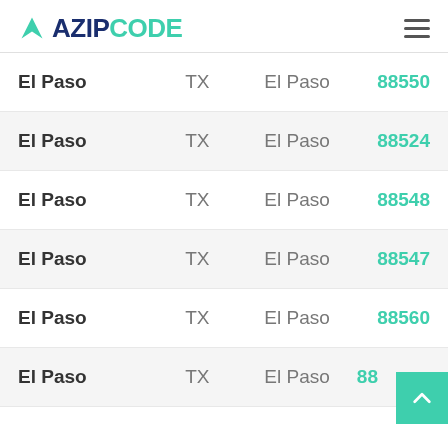AZIPCODE
| City | State | County | ZIP |
| --- | --- | --- | --- |
| El Paso | TX | El Paso | 88550 |
| El Paso | TX | El Paso | 88524 |
| El Paso | TX | El Paso | 88548 |
| El Paso | TX | El Paso | 88547 |
| El Paso | TX | El Paso | 88560 |
| El Paso | TX | El Paso | 88... |